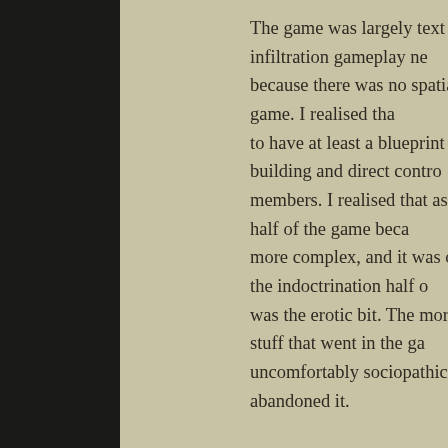The game was largely text based. The infiltration gameplay ne… because there was no spatial aspect to the game. I realised tha… to have at least a blueprint view of the building and direct contro… members. I realised that as the abduction half of the game beca… more complex, and it was overwhelming the indoctrination half … was the erotic bit. The more kidnapping stuff that went in the ga… uncomfortably sociopathic it became. I abandoned it.
Posted in Ancient History
Leave a comment